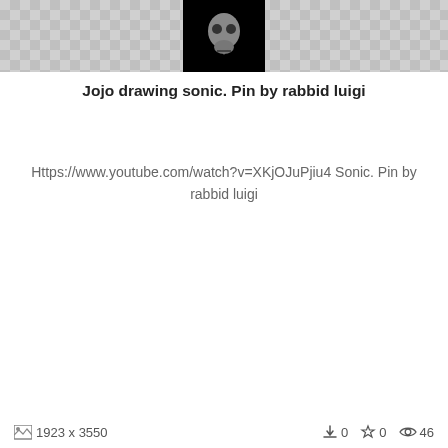[Figure (screenshot): Thumbnail image - dark/skull image on black background]
Jojo drawing sonic. Pin by rabbid luigi
Https://www.youtube.com/watch?v=XKjOJuPjiu4 Sonic. Pin by rabbid luigi
1923 x 3550  0  0  46
[Figure (screenshot): Angry Sonic game image - blue Angry Birds character styled as Sonic the Hedgehog with wings on black background, text reads ANGRY SONIC]
Jojo drawing sonic. Angry the game i
Angry Sonic: The game (I wish) by EpicSonicDrawings .... Angry the game i